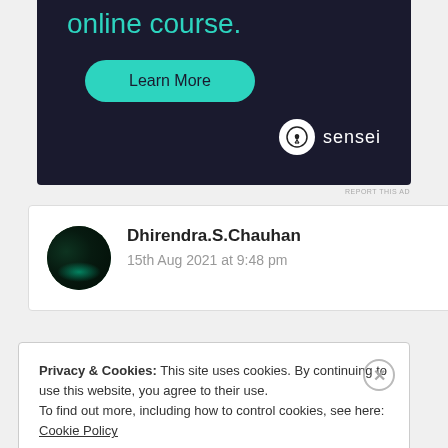[Figure (screenshot): Advertisement banner with dark background showing 'online course.' text in teal, a green 'Learn More' button, and Sensei logo in bottom right]
REPORT THIS AD
Dhirendra.S.Chauhan
15th Aug 2021 at 9:48 pm
Privacy & Cookies: This site uses cookies. By continuing to use this website, you agree to their use.
To find out more, including how to control cookies, see here: Cookie Policy
Close and accept